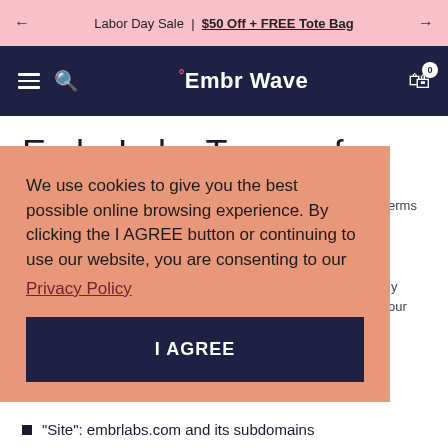← Labor Day Sale | $50 Off + FREE Tote Bag →
≡ 🔍 °Embr Wave 🛒 0
Embr Labs Terms of Service
We use cookies to give you the best possible online browsing experience. By clicking the I AGREE button or continuing to use our website, you are consenting to our Privacy Policy
I AGREE
"Site": embrlabs.com and its subdomains